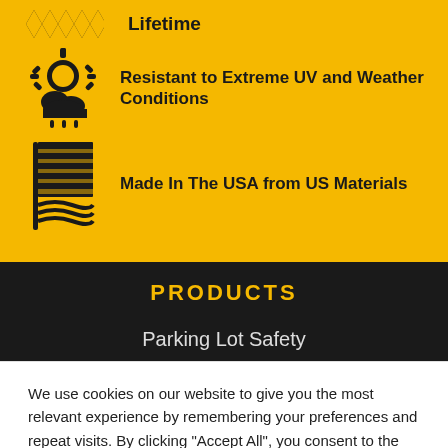[Figure (illustration): Hazard/warning diagonal stripes icon (yellow and black)]
Lifetime
[Figure (illustration): Sun and weather/cloud icon]
Resistant to Extreme UV and Weather Conditions
[Figure (illustration): USA flag icon]
Made In The USA from US Materials
PRODUCTS
Parking Lot Safety
We use cookies on our website to give you the most relevant experience by remembering your preferences and repeat visits. By clicking "Accept All", you consent to the use of ALL the cookies. However, you may visit "Cookie Settings" to provide a controlled consent.